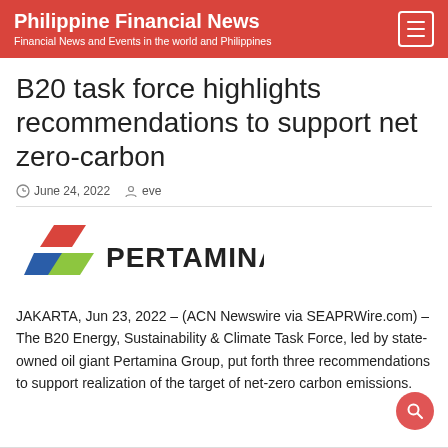Philippine Financial News
Financial News and Events in the world and Philippines
B20 task force highlights recommendations to support net zero-carbon
June 24, 2022  eve
[Figure (logo): Pertamina company logo with red, blue, and green chevron shapes and bold PERTAMINA text]
JAKARTA, Jun 23, 2022 – (ACN Newswire via SEAPRWire.com) – The B20 Energy, Sustainability & Climate Task Force, led by state-owned oil giant Pertamina Group, put forth three recommendations to support realization of the target of net-zero carbon emissions.